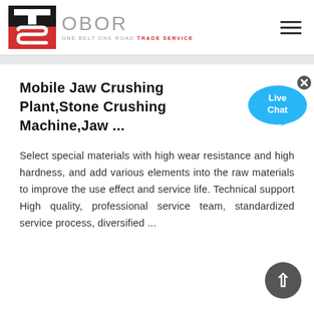OBOR — ONE BELT ONE ROAD TRADE SERVICE
Mobile Jaw Crushing Plant,Stone Crushing Machine,Jaw ...
Select special materials with high wear resistance and high hardness, and add various elements into the raw materials to improve the use effect and service life. Technical support High quality, professional service team, standardized service process, diversified ...
[Figure (other): Live Chat bubble widget overlay in the top-right area]
[Figure (other): Scroll-to-top circular arrow button in the bottom-right corner]